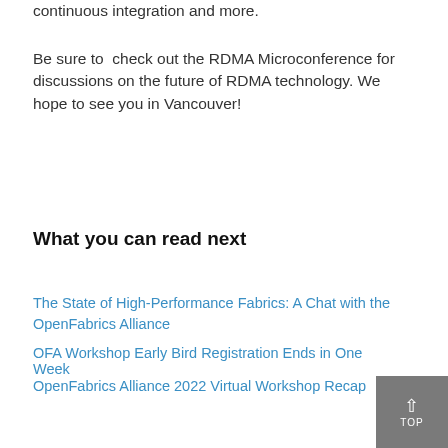continuous integration and more.
Be sure to  check out the RDMA Microconference for discussions on the future of RDMA technology. We hope to see you in Vancouver!
What you can read next
The State of High-Performance Fabrics: A Chat with the OpenFabrics Alliance
OFA Workshop Early Bird Registration Ends in One Week
OpenFabrics Alliance 2022 Virtual Workshop Recap